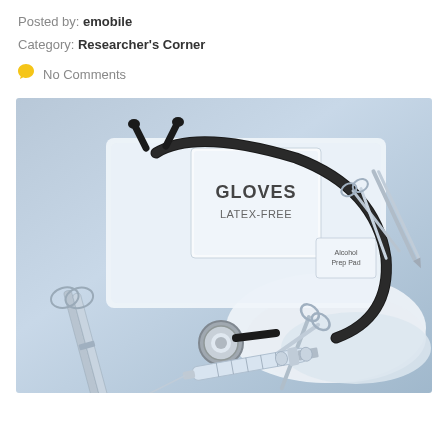Posted by: emobile
Category: Researcher's Corner
No Comments
[Figure (photo): Medical supplies laid out including a stethoscope, latex-free gloves packet, surgical clamps/forceps, syringe with needle, scissors, alcohol prep pad, and gauze/fabric, arranged on a light blue background.]